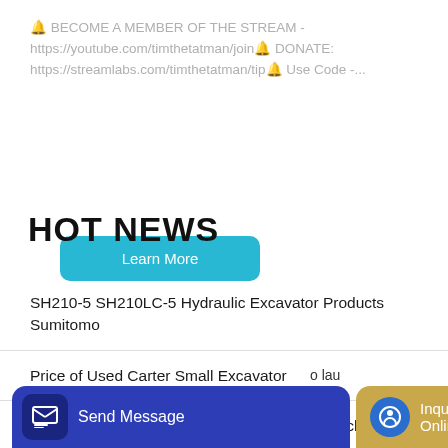🔔 BECOME A MEMBER OF THE STREAM - https://youtube.com/timthetatman/join🔔 DONATE: https://streamlabs.com/timthetatman/tip🔔 Use Code -...
Learn More
HOT NEWS
SH210-5 SH210LC-5 Hydraulic Excavator Products Sumitomo
Price of Used Carter Small Excavator
Used Komatsu PC2000 Excavator for sale Machinio
Europe loader
Send Message
Inquiry Online